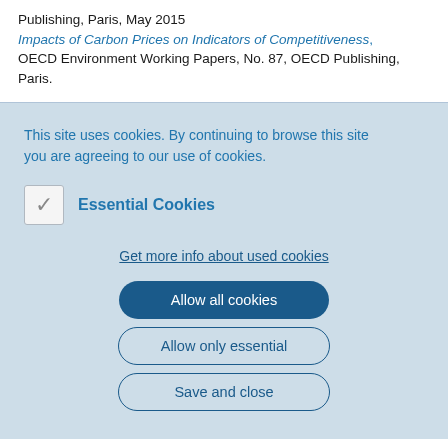Publishing, Paris, May 2015
Impacts of Carbon Prices on Indicators of Competitiveness, OECD Environment Working Papers, No. 87, OECD Publishing, Paris.
This site uses cookies. By continuing to browse this site you are agreeing to our use of cookies.
Essential Cookies
Get more info about used cookies
Allow all cookies
Allow only essential
Save and close